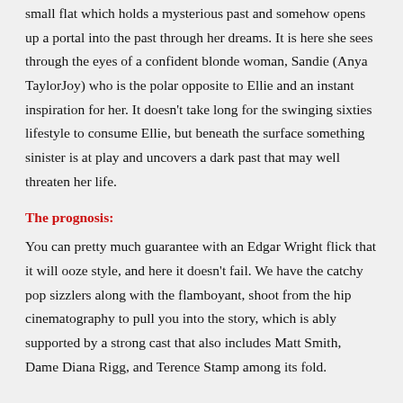small flat which holds a mysterious past and somehow opens up a portal into the past through her dreams. It is here she sees through the eyes of a confident blonde woman, Sandie (Anya TaylorJoy) who is the polar opposite to Ellie and an instant inspiration for her. It doesn't take long for the swinging sixties lifestyle to consume Ellie, but beneath the surface something sinister is at play and uncovers a dark past that may well threaten her life.
The prognosis:
You can pretty much guarantee with an Edgar Wright flick that it will ooze style, and here it doesn't fail. We have the catchy pop sizzlers along with the flamboyant, shoot from the hip cinematography to pull you into the story, which is ably supported by a strong cast that also includes Matt Smith, Dame Diana Rigg, and Terence Stamp among its fold.